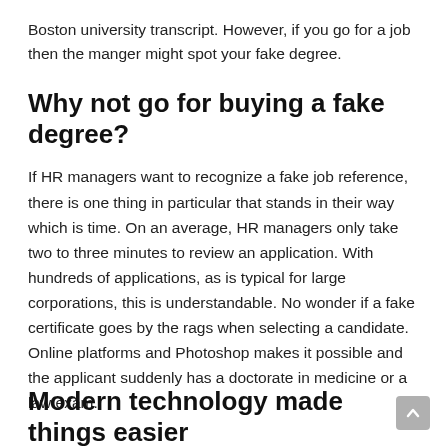Boston university transcript. However, if you go for a job then the manger might spot your fake degree.
Why not go for buying a fake degree?
If HR managers want to recognize a fake job reference, there is one thing in particular that stands in their way which is time. On an average, HR managers only take two to three minutes to review an application. With hundreds of applications, as is typical for large corporations, this is understandable. No wonder if a fake certificate goes by the rags when selecting a candidate. Online platforms and Photoshop makes it possible and the applicant suddenly has a doctorate in medicine or a law exam.
Modern technology made things easier